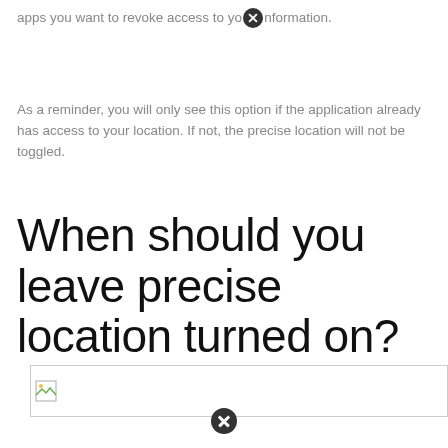apps you want to revoke access to your information.
As a reminder, you will only see this option if the application already has access to your location. If not, the precise location will not be toggled.
When should you leave precise location turned on?
[Figure (photo): Broken/unloaded image placeholder with landscape icon]
[Figure (other): Close/dismiss button circle icon at bottom of page]